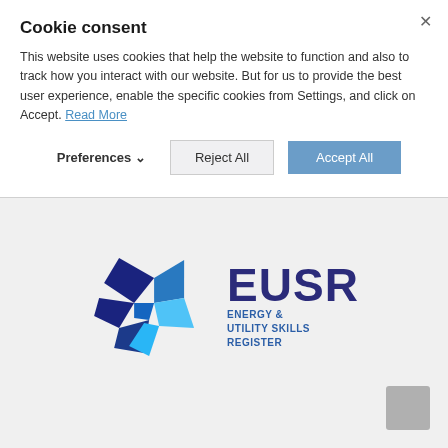Cookie consent
This website uses cookies that help the website to function and also to track how you interact with our website. But for us to provide the best user experience, enable the specific cookies from Settings, and click on Accept. Read More
Preferences   Reject All   Accept All
[Figure (logo): EUSR Energy & Utility Skills Register logo with blue star/arrow emblem and dark blue EUSR text]